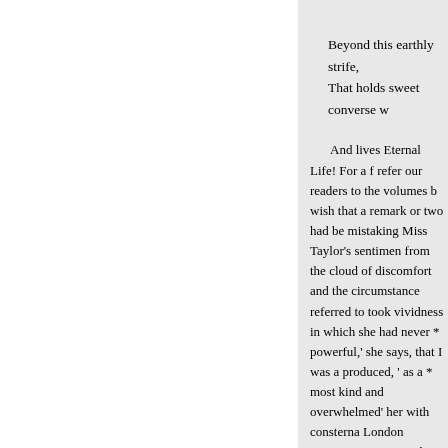Beyond this earthly strife,
That holds sweet converse w
And lives Eternal Life! For a f refer our readers to the volumes b wish that a remark or two had be mistaking Miss Taylor's sentimen from the cloud of discomfort and the circumstance referred to took vividness in which she had never * powerful,' she says, that I was a produced, ' as a * most kind and overwhelmed' her with consterna London surgeons respecting the a extreme reserve of her temper as her father's church, from which s religious world is in so much gre on that of enthusiasm, that few p impressions, and emotions, as a t this point are expressed in one of
I have heard the most judiciou preferring him and his service to